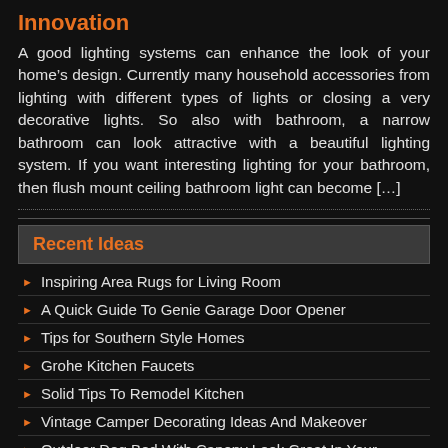Innovation
A good lighting systems can enhance the look of your home’s design. Currently many household accessories from lighting with different types of lights or closing a very decorative lights. So also with bathroom, a narrow bathroom can look attractive with a beautiful lighting system. If you want interesting lighting for your bathroom, then flush mount ceiling bathroom light can become […]
Recent Ideas
Inspiring Area Rugs for Living Room
A Quick Guide To Genie Garage Door Opener
Tips for Southern Style Homes
Grohe Kitchen Faucets
Solid Tips To Remodel Kitchen
Vintage Camper Decorating Ideas And Makeover
Outdoor Dog Bed With Canopy Look Great In Your...